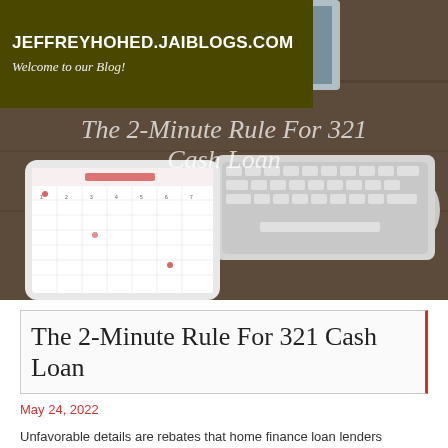JEFFREYHOHED.JAIBLOGS.COM
Welcome to our Blog!
[Figure (photo): Desk scene with a keyboard, tablet showing a calendar, computer monitor, and mouse on a wooden surface. Overlaid text reads: The 2-Minute Rule For 321 Cash Loan]
The 2-Minute Rule For 321 Cash Loan
May 24, 2022
Unfavorable details are rebates that home finance loan lenders present